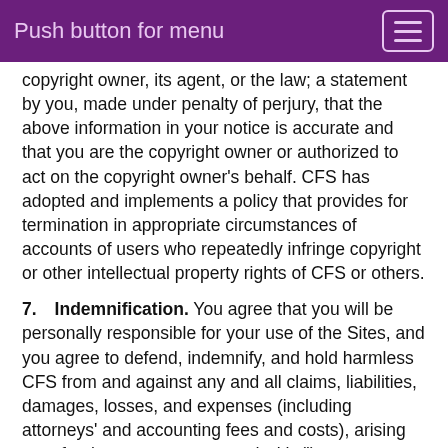Push button for menu
copyright owner, its agent, or the law; a statement by you, made under penalty of perjury, that the above information in your notice is accurate and that you are the copyright owner or authorized to act on the copyright owner's behalf. CFS has adopted and implements a policy that provides for termination in appropriate circumstances of accounts of users who repeatedly infringe copyright or other intellectual property rights of CFS or others.
7. Indemnification. You agree that you will be personally responsible for your use of the Sites, and you agree to defend, indemnify, and hold harmless CFS from and against any and all claims, liabilities, damages, losses, and expenses (including attorneys' and accounting fees and costs), arising out of or in any way connected with (i) your access to, use of, or alleged use of the Sites; (ii) your violation of the Terms or any applicable law or regulation; (iii) your